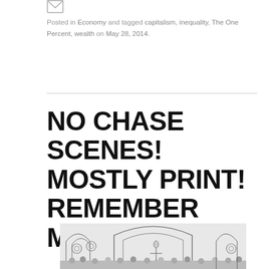[Figure (illustration): Small envelope icon graphic]
Posted in Economy and tagged capitalism, inequality, The One Percent, wealth on May 28, 2014.
NO CHASE SCENES! MOSTLY PRINT! REMEMBER MARCH 4TH!
[Figure (illustration): Black and white illustration showing a crowded scene inside an ornate building with arched architecture, figures dancing or moving, with circular light or orb shapes visible]